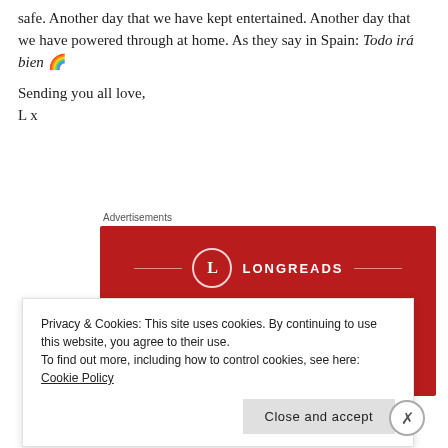safe. Another day that we have kept entertained. Another day that we have powered through at home. As they say in Spain: Todo irá bien 🌈
Sending you all love,
L x
Advertisements
[Figure (logo): Longreads advertisement banner: red background with Longreads logo circle and text 'The best stories on the web, cura, and...']
Privacy & Cookies: This site uses cookies. By continuing to use this website, you agree to their use. To find out more, including how to control cookies, see here: Cookie Policy
Close and accept
Advertisements